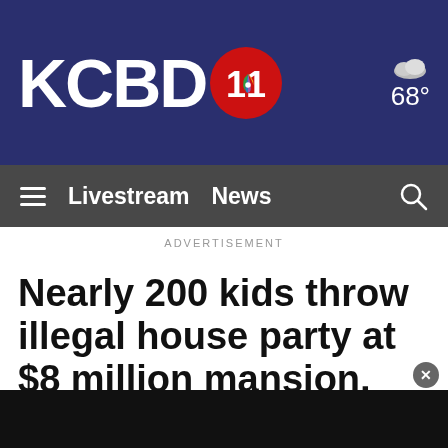KCBD 11 | 68°
Livestream  News
ADVERTISEMENT
Nearly 200 kids throw illegal house party at $8 million mansion, sheriff's office says
[Figure (screenshot): Black video player area at the bottom of the page]